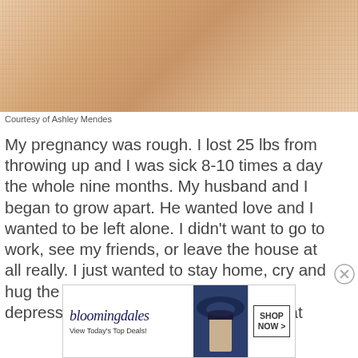[Figure (photo): Close-up photo of a pregnant belly with a knit/ribbed texture fabric, warm beige/tan tones]
Courtesy of Ashley Mendes
My pregnancy was rough. I lost 25 lbs from throwing up and I was sick 8-10 times a day the whole nine months. My husband and I began to grow apart. He wanted love and I wanted to be left alone. I didn't want to go to work, see my friends, or leave the house at all really. I just wanted to stay home, cry and hug the toilet. I didn't realize I was depressed during my pregnancy and that
[Figure (screenshot): Bloomingdale's advertisement banner: logo, 'View Today's Top Deals!', woman with hat, SHOP NOW > button]